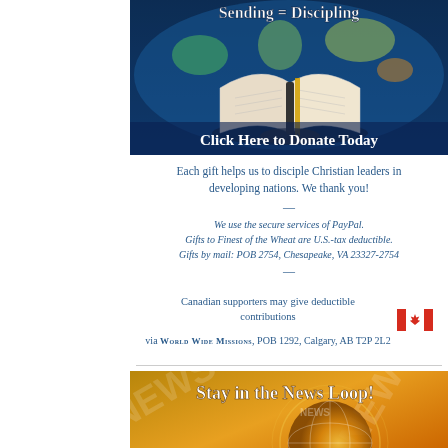[Figure (illustration): Banner image with world map background, open Bible, text 'Sending = Discipling' at top and 'Click Here to Donate Today' at bottom, dark blue background]
Each gift helps us to disciple Christian leaders in developing nations. We thank you!
We use the secure services of PayPal. Gifts to Finest of the Wheat are U.S.-tax deductible. Gifts by mail: POB 2754, Chesapeake, VA 23327-2754
Canadian supporters may give deductible contributions via World Wide Missions, POB 1292, Calgary, AB T2P 2L2
[Figure (illustration): Banner image with globe and NEWS text in background, orange and gold tones, text 'Stay in the News Loop!']